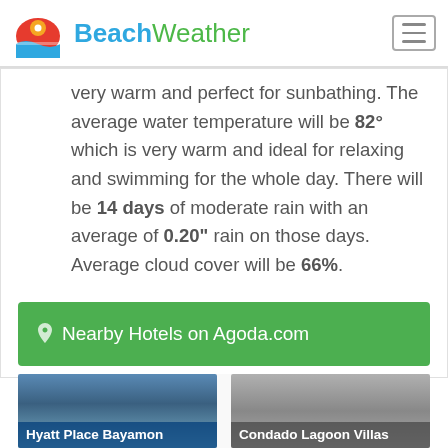BeachWeather
very warm and perfect for sunbathing. The average water temperature will be 82° which is very warm and ideal for relaxing and swimming for the whole day. There will be 14 days of moderate rain with an average of 0.20" rain on those days. Average cloud cover will be 66%.
Nearby Hotels on Agoda.com
[Figure (photo): Hotel card for Hyatt Place Bayamon]
[Figure (photo): Hotel card for Condado Lagoon Villas]